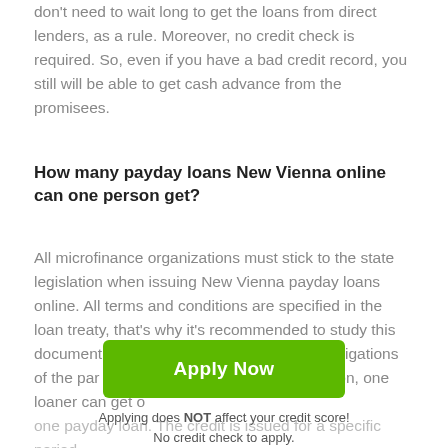don't need to wait long to get the loans from direct lenders, as a rule. Moreover, no credit check is required. So, even if you have a bad credit record, you still will be able to get cash advance from the promisees.
How many payday loans New Vienna online can one person get?
All microfinance organizations must stick to the state legislation when issuing New Vienna payday loans online. All terms and conditions are specified in the loan treaty, that's why it's recommended to study this document carefully to know the rights and obligations of the par… According to the state legislation, one loaner can get only one payday loan. The credit is issued for a specific period…
Apply Now
Applying does NOT affect your credit score!
No credit check to apply.